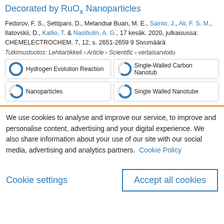Decorated by RuOx Nanoparticles
Fedorov, F. S., Settipani, D., Melandsø Buan, M. E., Sainio, J., Ali, F. S. M., Ilatovskii, D., Kallio, T. & Nasibulin, A. G., 17 kesäk. 2020, julkaisussa: CHEMELECTROCHEM. 7, 12, s. 2651-2659 9 Sivumäärä
Tutkimustuotos: Lehtiartikkeli › Article › Scientific › vertaisarvioitu
Hydrogen Evolution Reaction
Single-Walled Carbon Nanotub
Nanoparticles
Single Walled Nanotube
We use cookies to analyse and improve our service, to improve and personalise content, advertising and your digital experience. We also share information about your use of our site with our social media, advertising and analytics partners.  Cookie Policy
Cookie settings
Accept all cookies